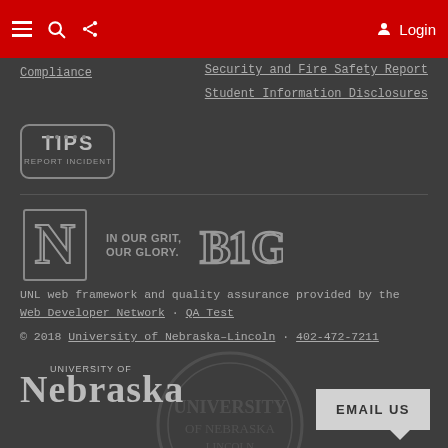Navigation bar with menu, search, share icons and Login
Compliance
Security and Fire Safety Report
Student Information Disclosures
[Figure (logo): TIPS Report Incident logo badge]
[Figure (logo): University of Nebraska N logo with IN OUR GRIT, OUR GLORY tagline and B1G conference logo]
UNL web framework and quality assurance provided by the Web Developer Network · QA Test
© 2018 University of Nebraska–Lincoln · 402-472-7211
[Figure (logo): University of Nebraska wordmark logo]
[Figure (illustration): Faint watermark seal of University of Nebraska]
EMAIL US